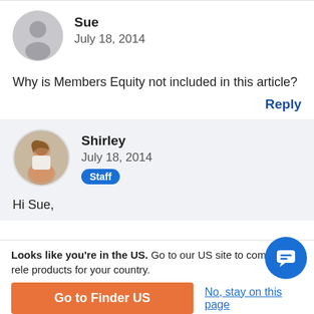[Figure (illustration): Grey circular avatar icon for user Sue]
Sue
July 18, 2014
Why is Members Equity not included in this article?
Reply
[Figure (photo): Circular photo of Shirley, a staff member smiling]
Shirley
July 18, 2014
Staff
Hi Sue,
Looks like you're in the US. Go to our US site to compare rele products for your country.
Go to Finder US
No, stay on this page